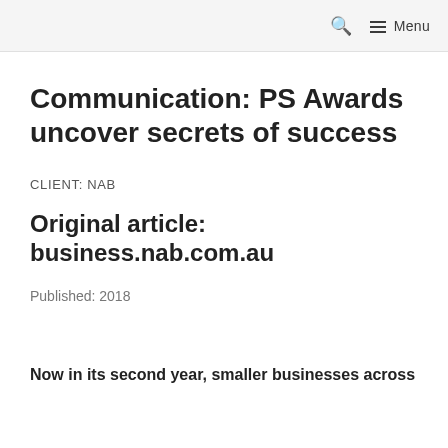🔍 ≡ Menu
Communication: PS Awards uncover secrets of success
CLIENT: NAB
Original article: business.nab.com.au
Published: 2018
Now in its second year, smaller businesses across